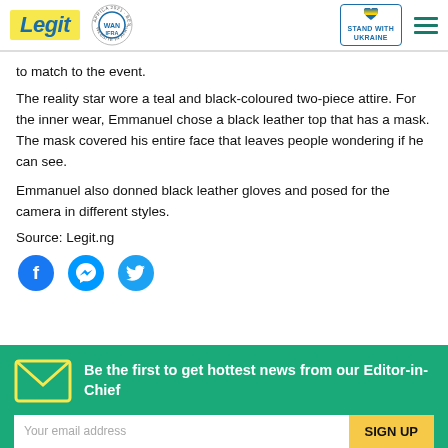Legit | WAN IFRA 2021 Best News Website in Africa | Stand with Ukraine
to match to the event.
The reality star wore a teal and black-coloured two-piece attire. For the inner wear, Emmanuel chose a black leather top that has a mask. The mask covered his entire face that leaves people wondering if he can see.
Emmanuel also donned black leather gloves and posed for the camera in different styles.
Source: Legit.ng
[Figure (other): Social share icons: Facebook, Messenger, Twitter]
Be the first to get hottest news from our Editor-in-Chief